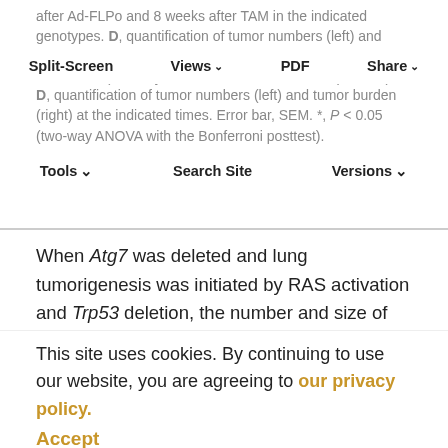after Ad-FLPo and 8 weeks after TAM in the indicated genotypes. D, quantification of tumor numbers (left) and tumor burden (right) at the indicated times. Error bar, SEM. *, P < 0.05 (two-way ANOVA with the Bonferroni posttest).
Split-Screen | Views | PDF | Share | Tools | Search Site | Versions
When Atg7 was deleted and lung tumorigenesis was initiated by RAS activation and Trp53 deletion, the number and size of tumors were monitored 4 and 8 weeks after TAM (3 and 7 weeks after Ad-FLPo). There was no difference in tumor frequency or burden 3 weeks after Ad-FLPo regardless of Atg7 status, indicating that the functional status of autophagy does not alter the ability of Kras G12D activation and Trp53 deficiency to induce formation of lung tumors (Fig. 5B–D). At 7 weeks after FLPo, however, there were fewer tumors and a reduction in tumor burden in Atg7−/− mice (Fig. 5B and Supplementary Fig. S5), coincident with emergence of
This site uses cookies. By continuing to use our website, you are agreeing to our privacy policy. Accept